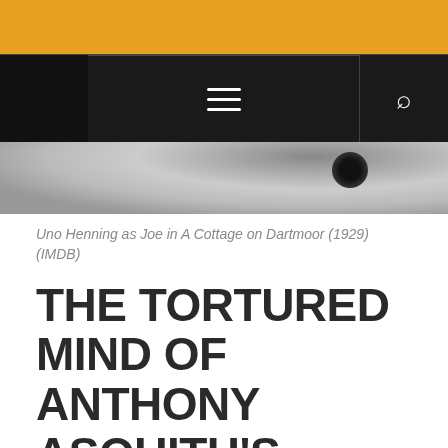[Figure (screenshot): Website header with orange bar at top, black navigation bar with hamburger menu and search icon, and a black-and-white film still photograph]
Uno Henning as Joe in A Cottage on Dartmoor (1929) (IMDB)
THE TORTURED MIND OF ANTHONY ASQUITH'S SILENT BRITISH GEM, 'A COTTAGE ON DARTMOOR'